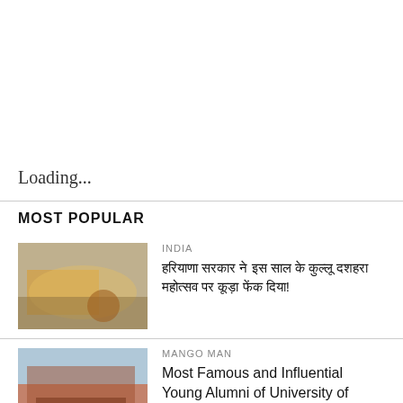Loading...
MOST POPULAR
[Figure (photo): Thumbnail image of a tractor or farming equipment with flowers/vegetation in the foreground]
INDIA
हरियाणा सरकार ने इस साल के कुल्लू दशहरा महोत्सव पर कूड़ा फेंक दिया!
[Figure (photo): Thumbnail image of a red brick university building, likely University of Delhi]
MANGO MAN
Most Famous and Influential Young Alumni of University of Delhi
[Figure (photo): Thumbnail image showing a gate or entrance, partially visible at bottom]
LATEST NEWS